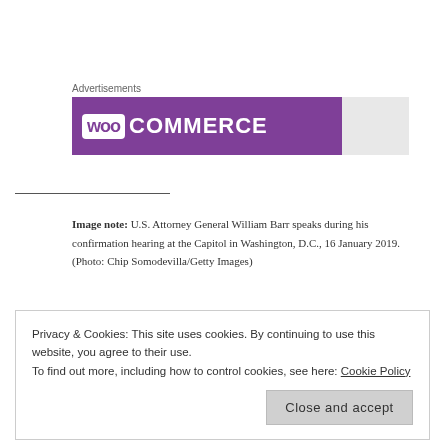Advertisements
[Figure (logo): WooCommerce advertisement banner with purple background and white WooCommerce logo]
Image note: U.S. Attorney General William Barr speaks during his confirmation hearing at the Capitol in Washington, D.C., 16 January 2019. (Photo: Chip Somodevilla/Getty Images)
Privacy & Cookies: This site uses cookies. By continuing to use this website, you agree to their use.
To find out more, including how to control cookies, see here: Cookie Policy